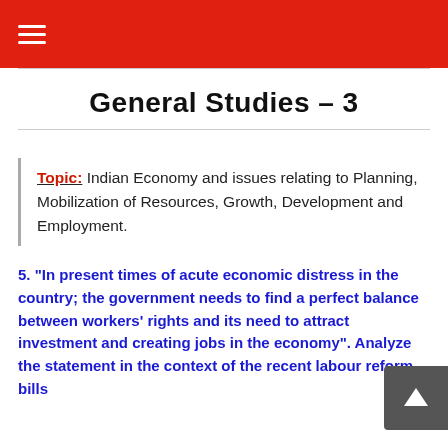≡
General Studies – 3
Topic: Indian Economy and issues relating to Planning, Mobilization of Resources, Growth, Development and Employment.
5. "In present times of acute economic distress in the country; the government needs to find a perfect balance between workers' rights and its need to attract investment and creating jobs in the economy". Analyze the statement in the context of the recent labour reform bills